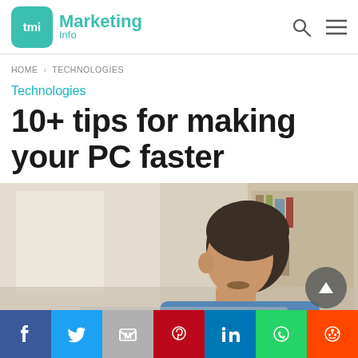tmi Marketing Info
HOME > TECHNOLOGIES
Technologies
10+ tips for making your PC faster
[Figure (photo): Man looking down at a laptop, side profile, wearing a blue shirt, background shows a blurred room with shelving]
Facebook, Twitter, Gmail, Pinterest, LinkedIn, WhatsApp, Reddit social share buttons